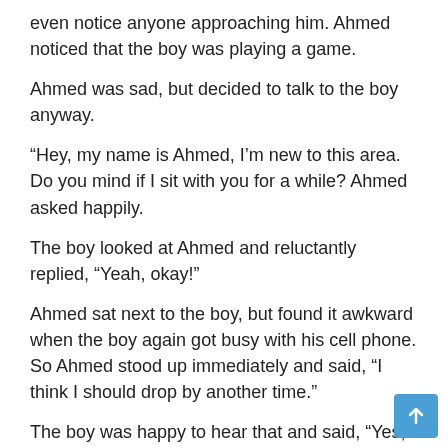even notice anyone approaching him. Ahmed noticed that the boy was playing a game.
Ahmed was sad, but decided to talk to the boy anyway.
“Hey, my name is Ahmed, I’m new to this area. Do you mind if I sit with you for a while? Ahmed asked happily.
The boy looked at Ahmed and reluctantly replied, “Yeah, okay!”
Ahmed sat next to the boy, but found it awkward when the boy again got busy with his cell phone. So Ahmed stood up immediately and said, “I think I should drop by another time.”
The boy was happy to hear that and said, “Yes, of course, come another day.”
Ahmed returned home sadly. Since he has never played online games, he wondered, “How can phones or tablets replace physical games?”